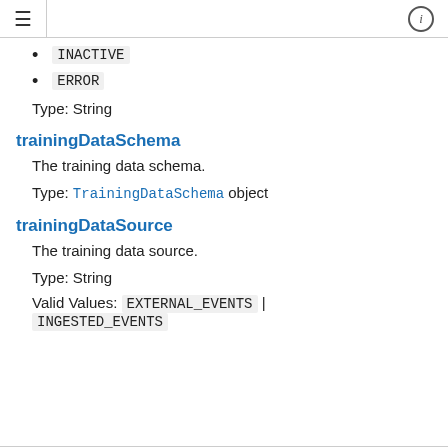≡  ⓘ
INACTIVE
ERROR
Type: String
trainingDataSchema
The training data schema.
Type: TrainingDataSchema object
trainingDataSource
The training data source.
Type: String
Valid Values: EXTERNAL_EVENTS | INGESTED_EVENTS